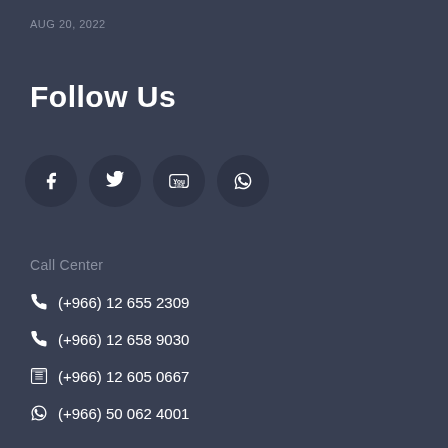AUG 20, 2022
Follow Us
[Figure (infographic): Four social media icon circles: Facebook, Twitter, YouTube, WhatsApp]
Call Center
(+966) 12 655 2309
(+966) 12 658 9030
(+966) 12 605 0667
(+966) 50 062 4001